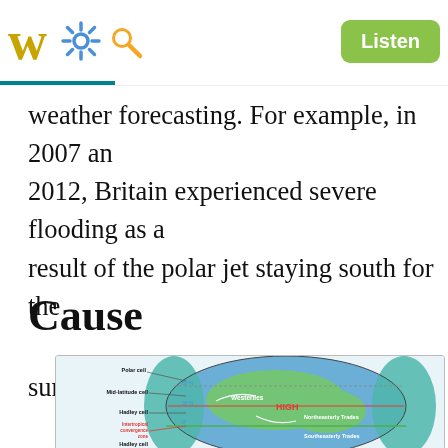W  [settings icon] [search icon]  Listen
weather forecasting. For example, in 2007 and 2012, Britain experienced severe flooding as a result of the polar jet staying south for the summer.[26][27][28]
Cause
[Figure (illustration): Diagram of atmospheric circulation cells on a globe showing Polar cell, Mid-latitude cell, Hadley cell, Intertropical convergence zone, Westerlies, HIGH pressure zone, Northeasterly Trades, Southeasterly Trades, at latitudes 60°N and 30°N and 0°]